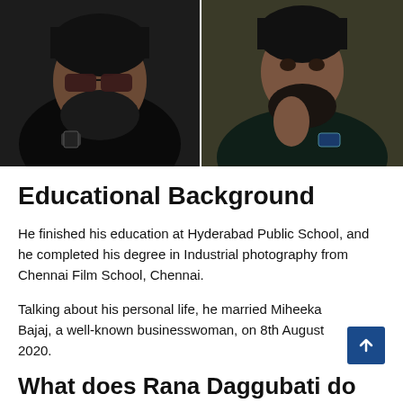[Figure (photo): Two photos of a bearded man. Left photo: man in black leather jacket and sunglasses with a watch. Right photo: man in dark suit with hand near chin, wearing a watch.]
Educational Background
He finished his education at Hyderabad Public School, and he completed his degree in Industrial photography from Chennai Film School, Chennai.
Talking about his personal life, he married Miheeka Bajaj, a well-known businesswoman, on 8th August 2020.
What does Rana Daggubati do for a